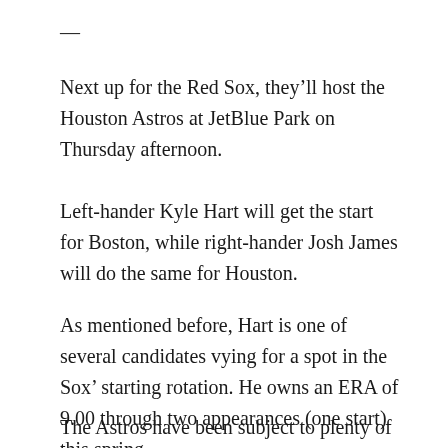—
Next up for the Red Sox, they’ll host the Houston Astros at JetBlue Park on Thursday afternoon.
Left-hander Kyle Hart will get the start for Boston, while right-hander Josh James will do the same for Houston.
As mentioned before, Hart is one of several candidates vying for a spot in the Sox’ starting rotation. He owns an ERA of 9.00 through two appearances (one start) this spring.
The Astros have been subject to plenty of boos